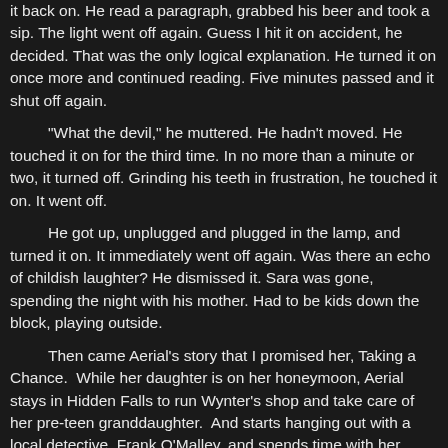it back on. He read a paragraph, grabbed his beer and took a sip. The light went off again. Guess I hit it on accident, he decided. That was the only logical explanation. He turned it on once more and continued reading. Five minutes passed and it shut off again.
"What the devil," he muttered. He hadn't moved. He touched it on for the third time. In no more than a minute or two, it turned off. Grinding his teeth in frustration, he touched it on. It went off.
He got up, unplugged and plugged in the lamp, and turned it on. It immediately went off again. Was there an echo of childish laughter? He dismissed it. Sara was gone, spending the night with his mother. Had to be kids down the block, playing outside.
Then came Aerial's story that I promised her, Taking a Chance.  While her daughter is on her honeymoon, Aerial stays in Hidden Falls to run Wynter's shop and take care of her pre-teen granddaughter.  And starts hanging out with a local detective, Frank O'Malley, and spends time with her